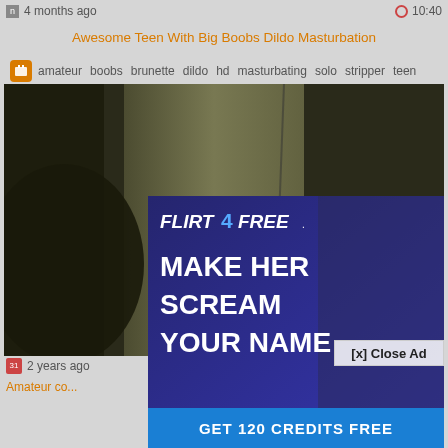4 months ago   10:40
Awesome Teen With Big Boobs Dildo Masturbation
amateur  boobs  brunette  dildo  hd  masturbating  solo  stripper  teen
[Figure (screenshot): Video thumbnail showing a dark, blurry scene]
[x] Close Ad
[Figure (infographic): Flirt4Free advertisement overlay with text MAKE HER SCREAM YOUR NAME and GET 120 CREDITS FREE]
2 years ago
Amateur co...